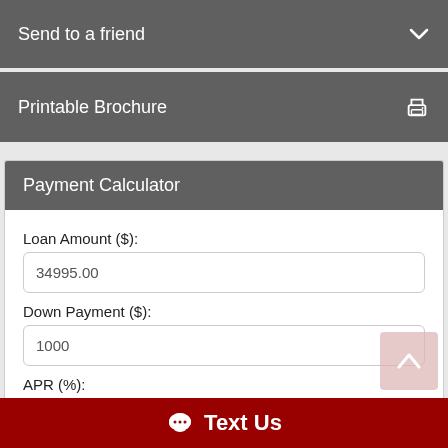Send to a friend
Printable Brochure
Payment Calculator
Loan Amount ($):
34995.00
Down Payment ($):
1000
APR (%):
4.95
Term of Loan (Years):
Text Us